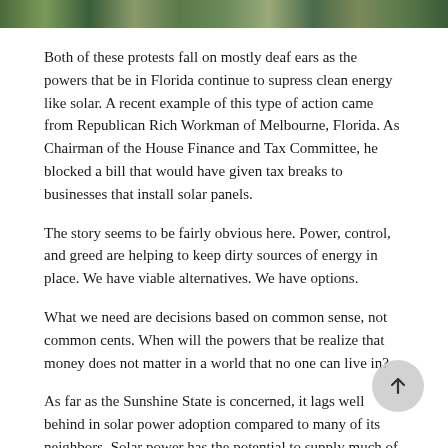[Figure (photo): A strip of photos showing people, likely protesters or group gathering, with green and outdoor tones.]
Both of these protests fall on mostly deaf ears as the powers that be in Florida continue to supress clean energy like solar. A recent example of this type of action came from Republican Rich Workman of Melbourne, Florida. As Chairman of the House Finance and Tax Committee, he blocked a bill that would have given tax breaks to businesses that install solar panels.
The story seems to be fairly obvious here. Power, control, and greed are helping to keep dirty sources of energy in place. We have viable alternatives. We have options.
What we need are decisions based on common sense, not common cents. When will the powers that be realize that money does not matter in a world that no one can live in?
As far as the Sunshine State is concerned, it lags well behind in solar power adoption compared to many of its neighbors. Solar power has the potential to supply much of Florida's energy. Utility scale solar is economically viable. Cost effective energy storage technologies are being devoloped as well. Solar power can't and should not be ignored any longer.